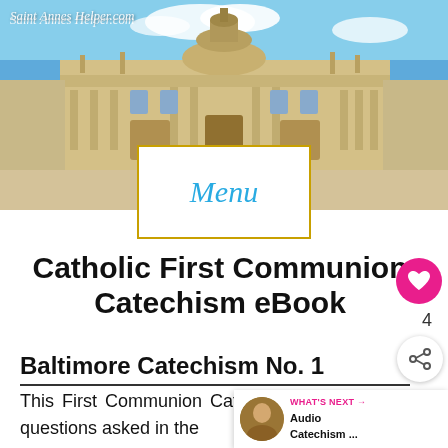[Figure (photo): St. Peter's Basilica at Vatican City under blue sky, with SaintAnnesHelper.com watermark text in top left]
Saint Annes Helper.com
Menu
Catholic First Communion Catechism eBook
Baltimore Catechism No. 1
This First Communion Catechism... the main questions asked in the
WHAT'S NEXT → Audio Catechism ...